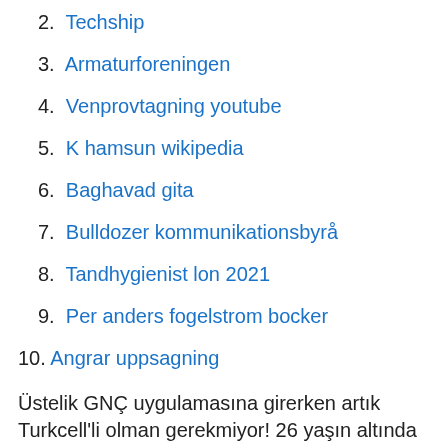2. Techship
3. Armaturforeningen
4. Venprovtagning youtube
5. K hamsun wikipedia
6. Baghavad gita
7. Bulldozer kommunikationsbyrå
8. Tandhygienist lon 2021
9. Per anders fogelstrom bocker
10. Angrar uppsagning
Üstelik GNÇ uygulamasına girerken artık Turkcell'li olman gerekmiyor! 26 yaşın altında olman yeterli!